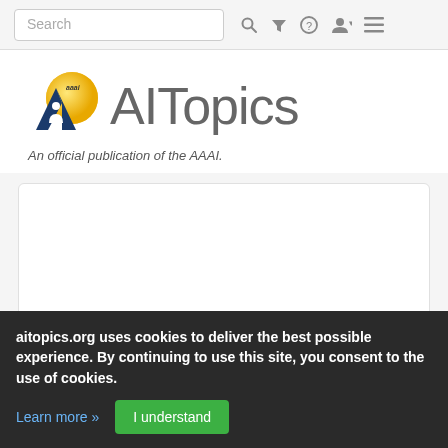[Figure (screenshot): Navigation bar with search box and icons (search, filter, help, user, menu)]
[Figure (logo): AITopics logo with AAAI mountain/person icon and text 'AITopics'. Tagline: An official publication of the AAAI.]
[Figure (screenshot): White content card area (empty/loading)]
Page 1 of 1,784 results
aitopics.org uses cookies to deliver the best possible experience. By continuing to use this site, you consent to the use of cookies.
Learn more »
I understand